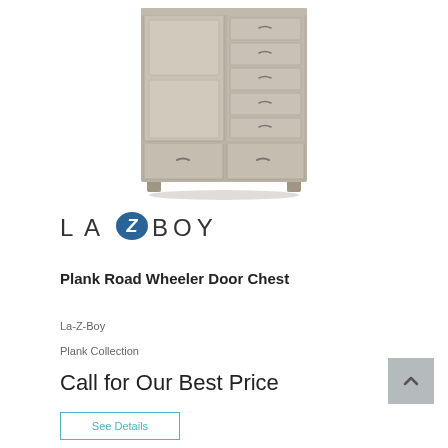[Figure (photo): A wooden door chest furniture piece with gray/beige finish, featuring multiple drawers on the right side and a door panel on the left, plus two large drawers at the bottom]
[Figure (logo): La-Z-Boy logo with stylized Z in a blue oval]
Plank Road Wheeler Door Chest
La-Z-Boy
Plank Collection
Call for Our Best Price
See Details